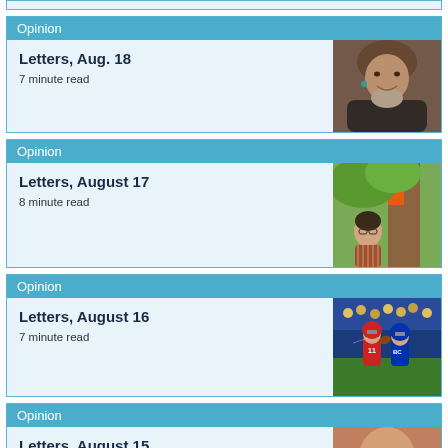Opinion
Letters, Aug. 18
7 minute read
[Figure (photo): Portrait photo of an older woman smiling]
Opinion
Letters, August 17
8 minute read
[Figure (photo): Woman looking up at a tree with orange markings]
Opinion
Letters, August 16
7 minute read
[Figure (photo): Football players in action, player wearing number 11]
Opinion
Letters, August 15